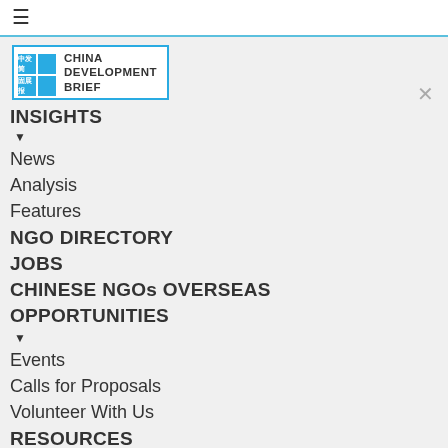[Figure (logo): Hamburger menu icon (three horizontal lines)]
[Figure (logo): China Development Brief logo with Chinese characters and English text]
INSIGHTS
News
Analysis
Features
NGO DIRECTORY
JOBS
CHINESE NGOs OVERSEAS
OPPORTUNITIES
Events
Calls for Proposals
Volunteer With Us
RESOURCES
Laws & Regulations
CDB Bilingual Dictionary